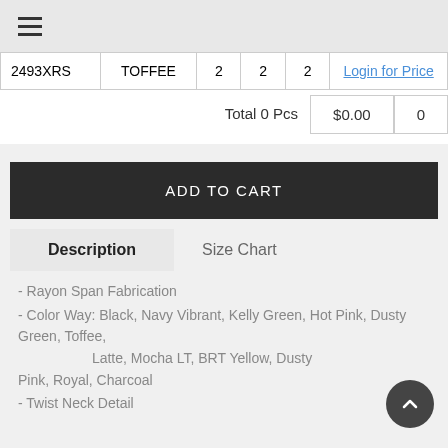≡
| 2493XRS | TOFFEE | 2 | 2 | 2 | Login for Price |
| Total 0 Pcs | $0.00 | 0 |
ADD TO CART
Description    Size Chart
- Rayon Span Fabrication
- Color Way: Black, Navy Vibrant, Kelly Green, Hot Pink, Dusty Green, Toffee, Latte, Mocha LT, BRT Yellow, Dusty Pink, Royal, Charcoal
- Twist Neck Detail